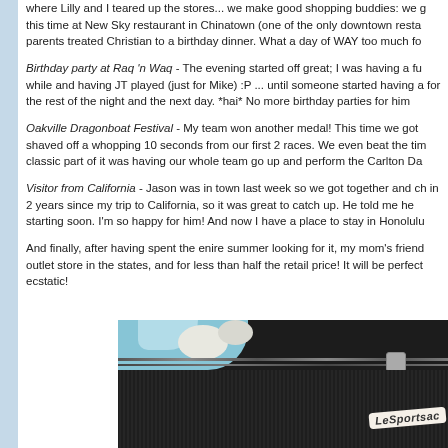where Lilly and I teared up the stores... we make good shopping buddies: we g this time at New Sky restaurant in Chinatown (one of the only downtown resta parents treated Christian to a birthday dinner. What a day of WAY too much fo
Birthday party at Raq 'n Waq - The evening started off great; I was having a fu while and having JT played (just for Mike) :P ... until someone started having a for the rest of the night and the next day. *hai* No more birthday parties for him
Oakville Dragonboat Festival - My team won another medal! This time we got shaved off a whopping 10 seconds from our first 2 races. We even beat the tim classic part of it was having our whole team go up and perform the Carlton Da
Visitor from California - Jason was in town last week so we got together and ch in 2 years since my trip to California, so it was great to catch up. He told me he starting soon. I'm so happy for him! And now I have a place to stay in Honolulu
And finally, after having spent the enire summer looking for it, my mom's friend outlet store in the states, and for less than half the retail price! It will be perfect ecstatic!
[Figure (photo): Close-up photo of a LeSportsac bag, showing black fabric with zipper detail and floral fabric patch in blue and white tones. A LeSportsac label tag is visible.]